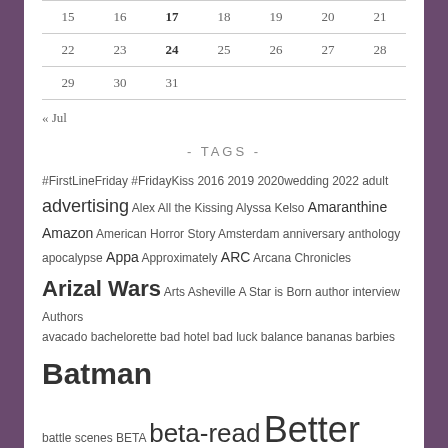| 15 | 16 | 17 | 18 | 19 | 20 | 21 |
| 22 | 23 | 24 | 25 | 26 | 27 | 28 |
| 29 | 30 | 31 |  |  |  |  |
« Jul
- TAGS -
#FirstLineFriday #FridayKiss 2016 2019 2020wedding 2022 adult advertising Alex All the Kissing Alyssa Kelso Amaranthine Amazon American Horror Story Amsterdam anniversary anthology apocalypse Appa Approximately ARC Arcana Chronicles Arizal Wars Arts Asheville A Star is Born author interview Authors avacado bachelorette bad hotel bad luck balance bananas barbies Batman battle scenes BETA beta-read Better Than Now Better Than This